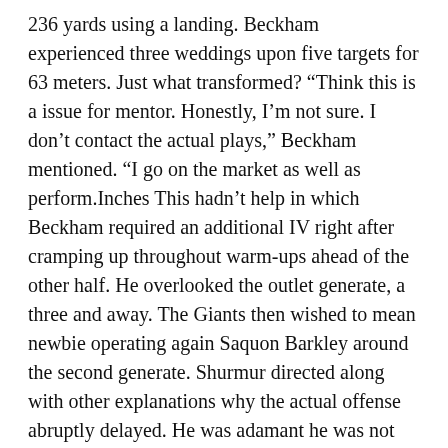236 yards using a landing. Beckham experienced three weddings upon five targets for 63 meters. Just what transformed? “Think this is a issue for mentor. Honestly, I’m not sure. I don’t contact the actual plays,” Beckham mentioned. “I go on the market as well as perform.Inches This hadn’t help in which Beckham required an additional IV right after cramping up throughout warm-ups ahead of the other half. He overlooked the outlet generate, a three and away. The Giants then wished to mean newbie operating again Saquon Barkley around the second generate. Shurmur directed along with other explanations why the actual offense abruptly delayed. He was adamant he was not discouraged they didn’t exploit the Silver eagles extra Light color t shirt design more. “I’m not necessarily disappointed. We could possess,” Shurmur stated. “I merely pointed out it. It was the story with the other half specifically and more. We all just meant it.